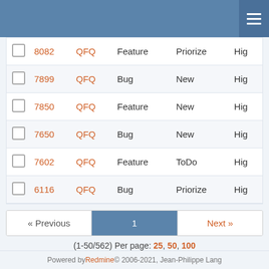Navigation header bar
|  | # | Project | Tracker | Status | Priority |
| --- | --- | --- | --- | --- | --- |
|  | 8082 | QFQ | Feature | Priorize | Hig |
|  | 7899 | QFQ | Bug | New | Hig |
|  | 7850 | QFQ | Feature | New | Hig |
|  | 7650 | QFQ | Bug | New | Hig |
|  | 7602 | QFQ | Feature | ToDo | Hig |
|  | 6116 | QFQ | Bug | Priorize | Hig |
« Previous  1  Next »
(1-50/562) Per page: 25, 50, 100
Also available in: Atom | CSV | PDF
Powered by Redmine © 2006-2021, Jean-Philippe Lang